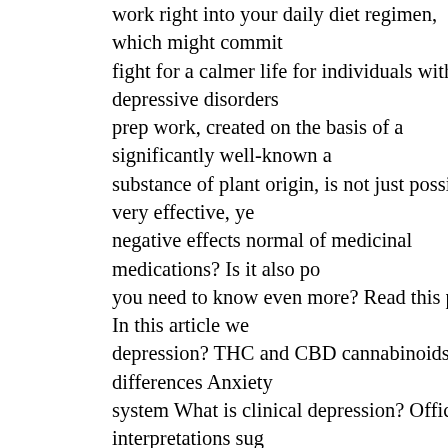work right into your daily diet regimen, which might commit fight for a calmer life for individuals with depressive disorders prep work, created on the basis of a significantly well-known a substance of plant origin, is not just possibly very effective, ye negative effects normal of medicinal medications? Is it also po you need to know even more? Read this post In this article we depression? THC and CBD cannabinoids – differences Anxiety system What is clinical depression? Official interpretations sug additionally recognized informally as anxiety, are identified by mood, in the unfavorable direction, of modest to solid intensity seasoned modifications, for more than a few weeks. There may event of changes. It additionally happens that it is difficult to i very commonly found the statement that it is a civilization illn affects both older and more youthful people. Our education is mention our incomes – it can impact anybody. Therapy of depr pharmacotherapy, psychotherapy as well as psychoeducation, p therapy and also even more natural tasks related to the climax introduction of significant changes in the daily diet regimen. It approaches of fighting as well as combating depression that th work with cannabinoids naturally happening in the plant in the increasingly more appeal in the world. Cannabidiol CBD, disc spectrum hemp oil, shows up in many clinical research studies cannabinoid in the treatment of clinical depression. Importantl compound of plant beginning. Remarkably, anxiety is amongst disorders in which individuals consider CBD hemp preparation spectrum hemp oil with CBD or CBD capsules. Records from